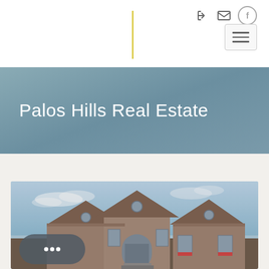Navigation header with logo area, icons, and hamburger menu
Palos Hills Real Estate
[Figure (photo): Exterior photo of a large brick residential home with peaked rooflines and arched entryway against a blue sky, with a 'MOST POPULAR' badge overlay and a chat button in the bottom-left corner.]